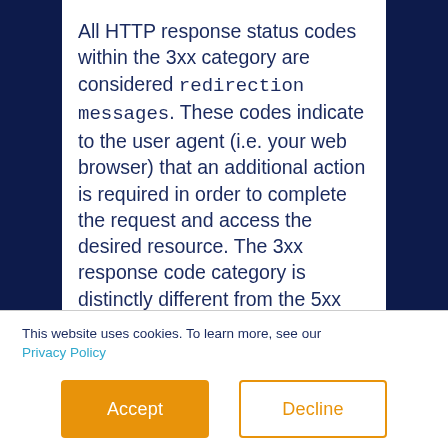All HTTP response status codes within the 3xx category are considered redirection messages. These codes indicate to the user agent (i.e. your web browser) that an additional action is required in order to complete the request and access the desired resource. The 3xx response code category is distinctly different from the 5xx codes category, which encompasses server error messages. For example, the 503
This website uses cookies. To learn more, see our Privacy Policy
If you decline, your information won't be tracked when you visit this website. A single cookie will be used in your browser to remember your preference not to be tracked.